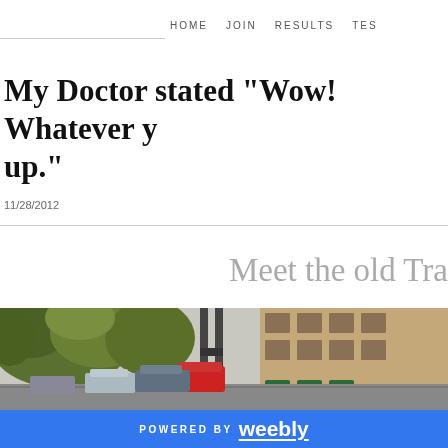HOME   JOIN   RESULTS   TES...
My Doctor stated "Wow! Whatever y... up."
11/28/2012
Meet the old Tra...
[Figure (photo): Street scene with trees in foreground, vehicles on road, and a large building in the background]
POWERED BY weebly